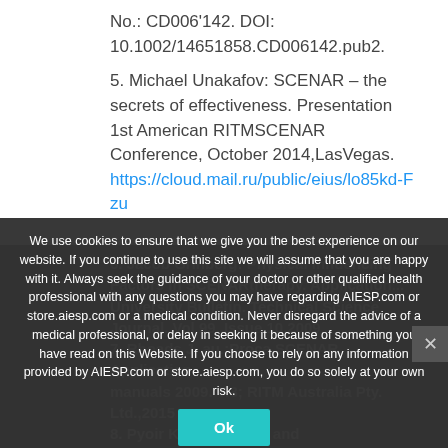No.: CD006'142. DOI: 10.1002/14651858.CD006142.pub2.
5. Michael Unakafov: SCENAR – the secrets of effectiveness. Presentation 1st American RITMSCENAR Conference, October 2014,LasVegas. https://cloud.mail.ru/public/eius/lo85kd-Fzu
6. Jacob Grinberg: Physical Influencing Factors in SCENARtherapy. Application...
University Bulletin. Technical Science Journal. Vol 99. Issue 10.2009
7. Rhoads J, au.:Proca SCENAR Application manuals 2009. V.3; RITM Australia Pty. Ltd.,2015
8. Pyoir K. Anokhin: Biology and Neurophysiology of the Conditioned...
We use cookies to ensure that we give you the best experience on our website. If you continue to use this site we will assume that you are happy with it. Always seek the guidance of your doctor or other qualified health professional with any questions you may have regarding AIESP.com or store.aiesp.com or a medical condition. Never disregard the advice of a medical professional, or delay in seeking it because of something you have read on this Website. If you choose to rely on any information provided by AIESP.com or store.aiesp.com, you do so solely at your own risk.